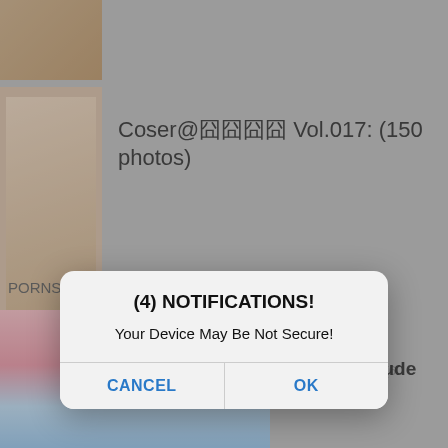[Figure (screenshot): Mobile app screenshot showing a content listing page with thumbnails (cosplay/anime content items) dimmed in the background]
Coser@囧囧囧囧 Vol.017: (150 photos)
Coser@囧囧 囧囧囧囧囧 Vol.055 囧囧囧 (60 photos)
PORNS.NETWORK UPDATE
Yoshinobi Nude
[Figure (screenshot): Mobile OS alert dialog with title '(4) NOTIFICATIONS!' and message 'Your Device May Be Not Secure!' with CANCEL and OK buttons]
(4) NOTIFICATIONS!
Your Device May Be Not Secure!
CANCEL
OK